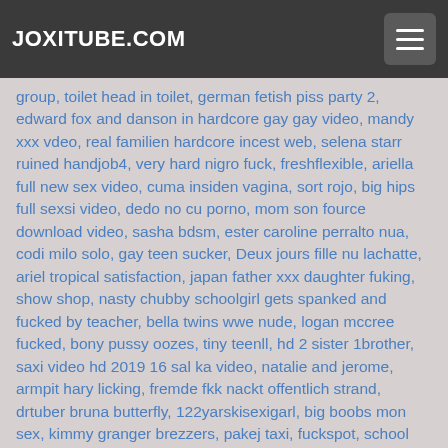JOXITUBE.COM
group, toilet head in toilet, german fetish piss party 2, edward fox and danson in hardcore gay gay video, mandy xxx vdeo, real familien hardcore incest web, selena starr ruined handjob4, very hard nigro fuck, freshflexible, ariella full new sex video, cuma insiden vagina, sort rojo, big hips full sexsi video, dedo no cu porno, mom son fource download video, sasha bdsm, ester caroline perralto nua, codi milo solo, gay teen sucker, Deux jours fille nu lachatte, ariel tropical satisfaction, japan father xxx daughter fuking, show shop, nasty chubby schoolgirl gets spanked and fucked by teacher, bella twins wwe nude, logan mccree fucked, bony pussy oozes, tiny teenll, hd 2 sister 1brother, saxi video hd 2019 16 sal ka video, natalie and jerome, armpit hary licking, fremde fkk nackt offentlich strand, drtuber bruna butterfly, 122yarskisexigarl, big boobs mon sex, kimmy granger brezzers, pakej taxi, fuckspot, school girls xxx videos gold, keisha grovic, golic